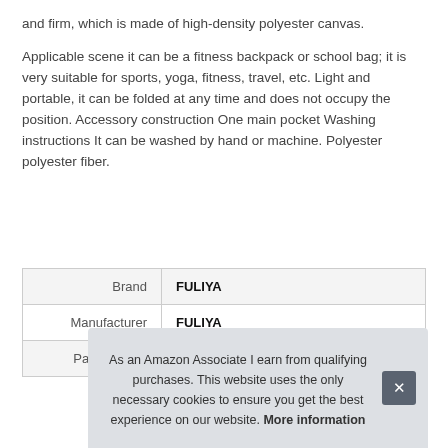and firm, which is made of high-density polyester canvas.
Applicable scene it can be a fitness backpack or school bag; it is very suitable for sports, yoga, fitness, travel, etc. Light and portable, it can be folded at any time and does not occupy the position. Accessory construction One main pocket Washing instructions It can be washed by hand or machine. Polyester polyester fiber.
| Label | Value |
| --- | --- |
| Brand | FULIYA |
| Manufacturer | FULIYA |
| Part Number | 74SHGN09120247445 |
As an Amazon Associate I earn from qualifying purchases. This website uses the only necessary cookies to ensure you get the best experience on our website. More information